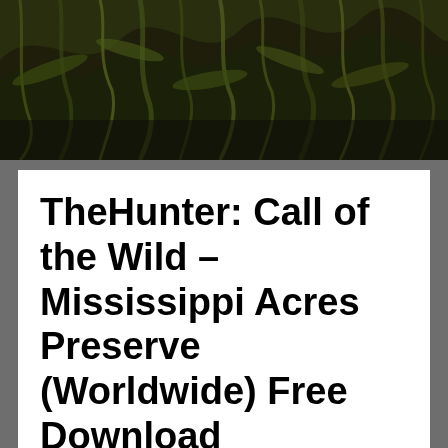[Figure (photo): Dark corn/foliage field photo at top of page]
TheHunter: Call of the Wild – Mississippi Acres Preserve (Worldwide) Free Download
Free Download TheHunter: Call of the Wild – Mississippi Acres Preserve (Worldwide)
About This Content